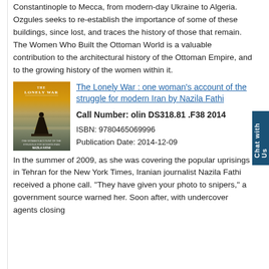Constantinople to Mecca, from modern-day Ukraine to Algeria. Ozgules seeks to re-establish the importance of some of these buildings, since lost, and traces the history of those that remain. The Women Who Built the Ottoman World is a valuable contribution to the architectural history of the Ottoman Empire, and to the growing history of the women within it.
[Figure (photo): Book cover of 'The Lonely War' by Nazila Fathi, showing a silhouetted figure in black against a misty background with a golden-orange sky.]
The Lonely War : one woman's account of the struggle for modern Iran by Nazila Fathi
Call Number: olin DS318.81 .F38 2014
ISBN: 9780465069996
Publication Date: 2014-12-09
In the summer of 2009, as she was covering the popular uprisings in Tehran for the New York Times, Iranian journalist Nazila Fathi received a phone call. "They have given your photo to snipers," a government source warned her. Soon after, with undercover agents closing